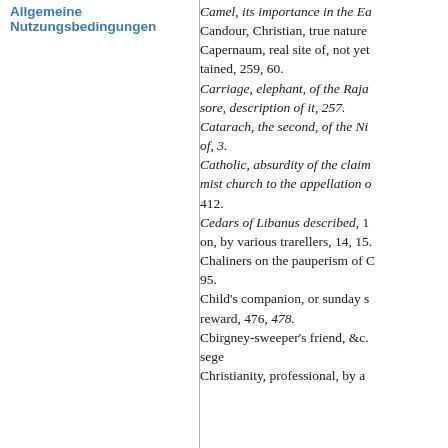Allgemeine Nutzungsbedingungen
Camel, its importance in the Ea
Candour, Christian, true nature
Capernaum, real site of, not yet
tained, 259, 60.
Carriage, elephant, of the Raja
sore, description of it, 257.
Catarach, the second, of the Ni
of, 3.
Catholic, absurdity of the claim
mist church to the appellation o
412.
Cedars of Libanus described, 1
on, by various trarellers, 14, 15.
Chaliners on the pauperism of C
95.
Child's companion, or sunday s
reward, 476, 478.
Cbirgney-sweeper's friend, &c.
sege
Christianity, professional, by a